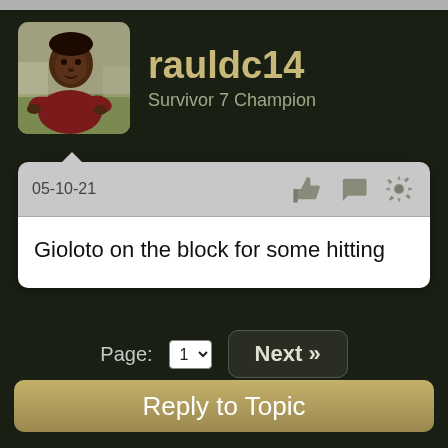rauldc14
Survivor 7 Champion
05-10-21
Gioloto on the block for some hitting
Page: 1
Next »
Reply to Topic
[Figure (photo): Avatar photo of a young man in a dark red shirt, crouching or leaning forward outdoors]